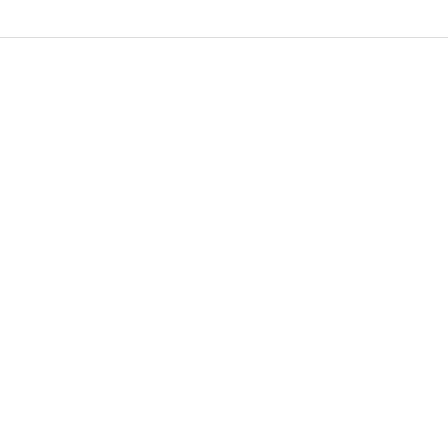[Figure (photo): Cinematic Environs - Aerial Reaches album/product cover showing a fantasy sky scene with a hot air balloon and sailing ships]
here fo...
[Figure (photo): Cinematic Environs - Aquatic Depths product cover showing a man with octopus tentacles underwater]
Cine...
Davae... of sup... players... enviro... that th... series.
[Figure (photo): Cinematic Environs product cover showing snowy mountains]
Cine...
Davae... design... gives t... munda... be talki...